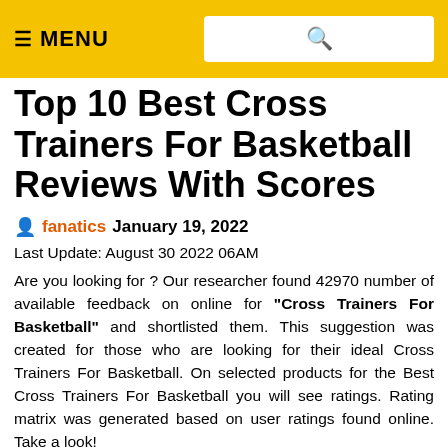MENU
Top 10 Best Cross Trainers For Basketball Reviews With Scores
fanatics   January 19, 2022
Last Update: August 30 2022 06AM
Are you looking for ? Our researcher found 42970 number of available feedback on online for "Cross Trainers For Basketball" and shortlisted them. This suggestion was created for those who are looking for their ideal Cross Trainers For Basketball. On selected products for the Best Cross Trainers For Basketball you will see ratings. Rating matrix was generated based on user ratings found online. Take a look!